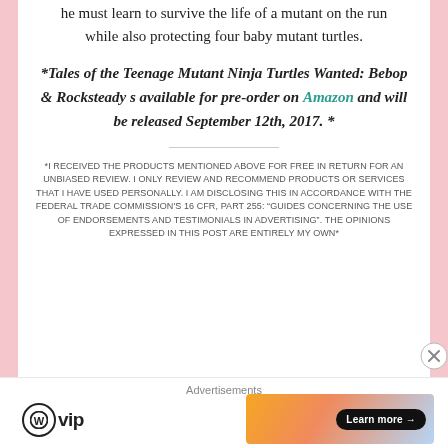he must learn to survive the life of a mutant on the run while also protecting four baby mutant turtles.
*Tales of the Teenage Mutant Ninja Turtles Wanted: Bebop & Rocksteady s available for pre-order on Amazon and will be released September 12th, 2017. *
*I RECEIVED THE PRODUCTS MENTIONED ABOVE FOR FREE IN RETURN FOR AN UNBIASED REVIEW. I ONLY REVIEW AND RECOMMEND PRODUCTS OR SERVICES THAT I HAVE USED PERSONALLY. I AM DISCLOSING THIS IN ACCORDANCE WITH THE FEDERAL TRADE COMMISSION'S 16 CFR, PART 255: "GUIDES CONCERNING THE USE OF ENDORSEMENTS AND TESTIMONIALS IN ADVERTISING". THE OPINIONS EXPRESSED IN THIS POST ARE ENTIRELY MY OWN*
Advertisements